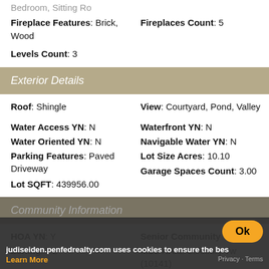Bedroom, Sitting Ro
Fireplace Features: Brick, Wood
Fireplaces Count: 5
Levels Count: 3
Exterior Details
Roof: Shingle
View: Courtyard, Pond, Valley
Water Access YN: N
Waterfront YN: N
Water Oriented YN: N
Navigable Water YN: N
Parking Features: Paved Driveway
Lot Size Acres: 10.10
Lot SQFT: 439956.00
Garage Spaces Count: 3.00
Community Information
HOA YN: Y
Senior Community YN:
Zoning: R2
MLS Area: Solebury Tw (10141)